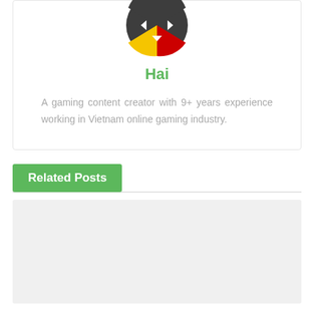[Figure (logo): Gaming controller logo icon — dark gray circle with yellow and red quadrant accents and white directional arrow symbols]
Hai
A gaming content creator with 9+ years experience working in Vietnam online gaming industry.
Related Posts
[Figure (photo): Light gray placeholder image for a related post thumbnail]